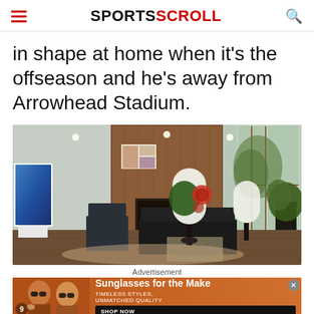SPORTSCROLL
in shape at home when it’s the offseason and he’s away from Arrowhead Stadium.
[Figure (photo): Interior of a luxury living room with dark wood accent wall, fireplace, modern furniture, decorative lamps, artwork, and large glass doors leading to an outdoor patio with trees visible.]
Advertisement
[Figure (photo): Advertisement banner showing two women wearing sunglasses. Text reads: Sunglasses for the Make, TIMELESS STYLES, UNMATCHED QUALITY, SHOP NOW button.]